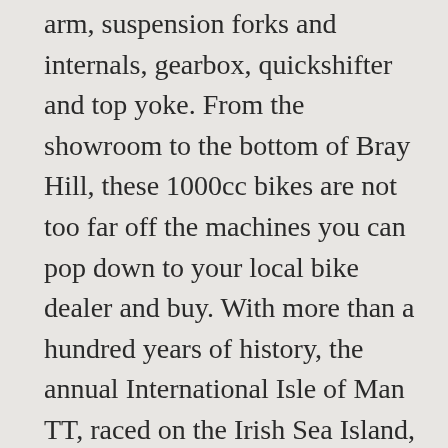arm, suspension forks and internals, gearbox, quickshifter and top yoke. From the showroom to the bottom of Bray Hill, these 1000cc bikes are not too far off the machines you can pop down to your local bike dealer and buy. With more than a hundred years of history, the annual International Isle of Man TT, raced on the Irish Sea Island, is one of the most demanding and exciting races in the world. For information including how to stop them, click Privacy & Cookie Policy. The 2017 Mugen team will once again star McGuinness, with another expert rider and Isle of Man celebrity, Guy Martin, replacing Anstey. The Isle of Man TT is the ultimate 'must see it' event for motorsport fans across the globe. Mugen Shinden 8 at Isle